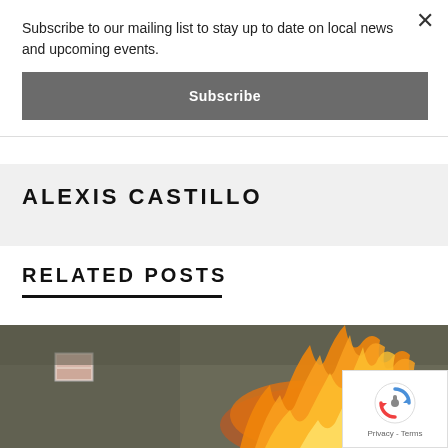Subscribe to our mailing list to stay up to date on local news and upcoming events.
Subscribe
ALEXIS CASTILLO
RELATED POSTS
[Figure (photo): Photo showing a fire with flames visible against a dark background, with a label/sticker visible on the left side. A reCAPTCHA badge is overlaid in the bottom-right corner.]